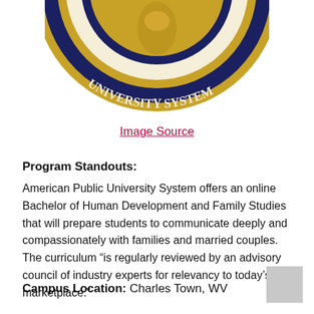[Figure (logo): Partial university seal logo — gold and navy blue circular emblem with text 'UNIVERSITY SYST' visible along the arc, cut off at top]
Image Source
Program Standouts:
American Public University System offers an online Bachelor of Human Development and Family Studies that will prepare students to communicate deeply and compassionately with families and married couples. The curriculum “is regularly reviewed by an advisory council of industry experts for relevancy to today’s marketplace.”
Campus Location: Charles Town, WV